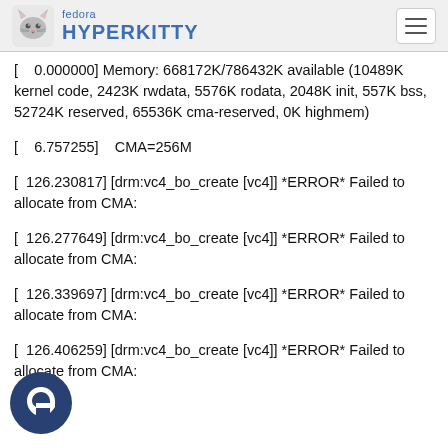fedora HYPERKITTY
[    0.000000] Memory: 668172K/786432K available (10489K kernel code, 2423K rwdata, 5576K rodata, 2048K init, 557K bss, 52724K reserved, 65536K cma-reserved, 0K highmem)
[    6.757255]    CMA=256M
[  126.230817] [drm:vc4_bo_create [vc4]] *ERROR* Failed to allocate from CMA:
[  126.277649] [drm:vc4_bo_create [vc4]] *ERROR* Failed to allocate from CMA:
[  126.339697] [drm:vc4_bo_create [vc4]] *ERROR* Failed to allocate from CMA:
[  126.406259] [drm:vc4_bo_create [vc4]] *ERROR* Failed to allocate from CMA: